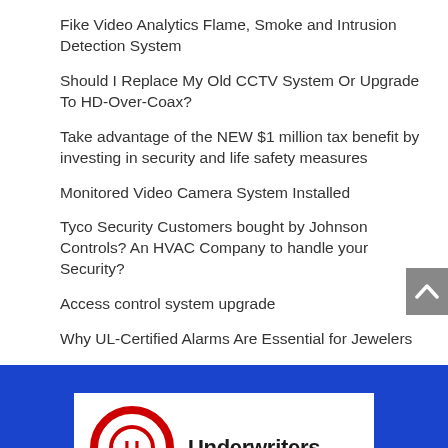Fike Video Analytics Flame, Smoke and Intrusion Detection System
Should I Replace My Old CCTV System Or Upgrade To HD-Over-Coax?
Take advantage of the NEW $1 million tax benefit by investing in security and life safety measures
Monitored Video Camera System Installed
Tyco Security Customers bought by Johnson Controls? An HVAC Company to handle your Security?
Access control system upgrade
Why UL-Certified Alarms Are Essential for Jewelers
[Figure (logo): Underwriters Laboratories (UL) logo with red circle emblem and bold text reading 'Underwriters']